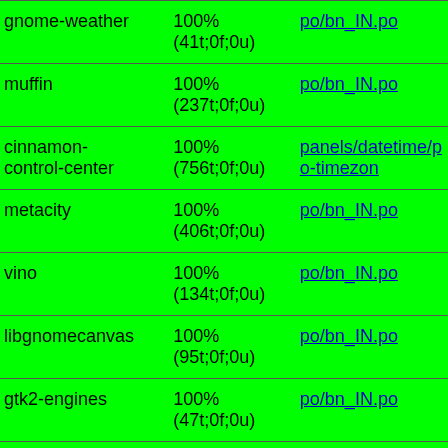| Package | Translation | File |
| --- | --- | --- |
| gnome-weather | 100% (41t;0f;0u) | po/bn_IN.po |
| muffin | 100% (237t;0f;0u) | po/bn_IN.po |
| cinnamon-control-center | 100% (756t;0f;0u) | panels/datetime/po-timezone |
| metacity | 100% (406t;0f;0u) | po/bn_IN.po |
| vino | 100% (134t;0f;0u) | po/bn_IN.po |
| libgnomecanvas | 100% (95t;0f;0u) | po/bn_IN.po |
| gtk2-engines | 100% (47t;0f;0u) | po/bn_IN.po |
| gtk4 | 100% (955t;0f;0u) | po/bn_IN.po |
| vinagre | 100% | po/bn_IN.po |